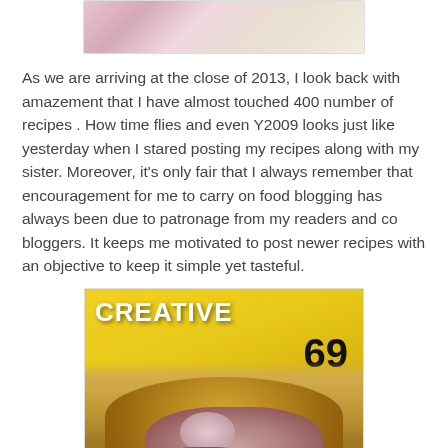[Figure (photo): Partial view of food image at top of page, showing pink/floral colored ingredients on a light background]
As we are arriving at the close of 2013, I look back with amazement that I have almost touched 400 number of recipes . How time flies and even Y2009 looks just like yesterday when I stared posting my recipes along with my sister. Moreover, it's only fair that I always remember that encouragement for me to carry on food blogging has always been due to patronage from my readers and co bloggers. It keeps me motivated to post newer recipes with an objective to keep it simple yet tasteful.
[Figure (photo): Photo of a food wrap/roll filled with chicken pieces and onions, placed against a yellow and black creative-branded background/cloth]